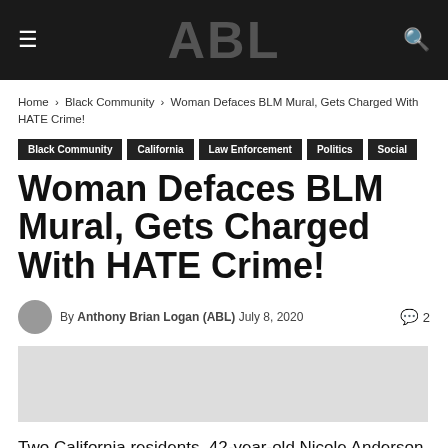ABL
Home › Black Community › Woman Defaces BLM Mural, Gets Charged With HATE Crime!
Black Community
California
Law Enforcement
Politics
Social
Woman Defaces BLM Mural, Gets Charged With HATE Crime!
By Anthony Brian Logan (ABL) July 8, 2020   2
Two California residents, 42-year-old Nicole Anderson and 52-year-old David Nelson, were charged with a hate